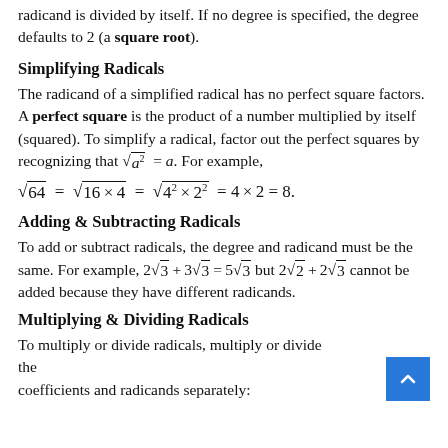radicand is divided by itself. If no degree is specified, the degree defaults to 2 (a square root).
Simplifying Radicals
The radicand of a simplified radical has no perfect square factors. A perfect square is the product of a number multiplied by itself (squared). To simplify a radical, factor out the perfect squares by recognizing that √(a²) = a. For example,
Adding & Subtracting Radicals
To add or subtract radicals, the degree and radicand must be the same. For example, 2√3 + 3√3 = 5√3 but 2√2 + 2√3 cannot be added because they have different radicands.
Multiplying & Dividing Radicals
To multiply or divide radicals, multiply or divide the coefficients and radicands separately: